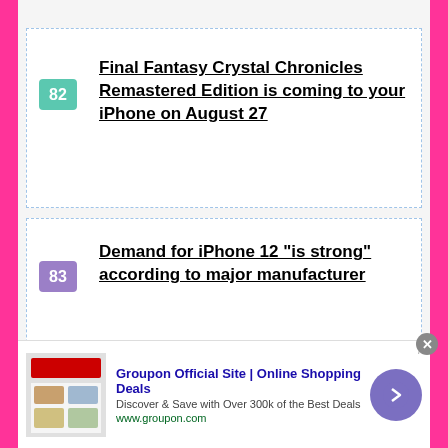Final Fantasy Crystal Chronicles Remastered Edition is coming to your iPhone on August 27
Demand for iPhone 12 “is strong” according to major manufacturer
Errors when starting an app on your iPhone? Blame it on Facebook
[Figure (screenshot): Advertisement banner: Groupon Official Site | Online Shopping Deals. Discover & Save with Over 300k of the Best Deals. www.groupon.com]